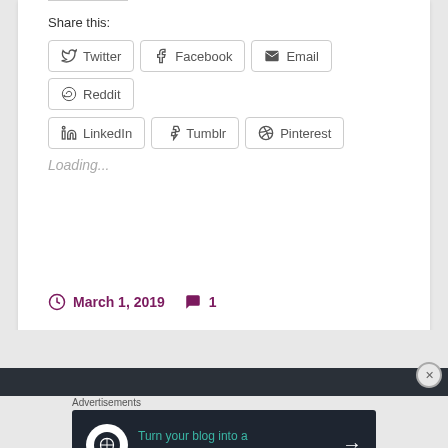Share this:
Twitter
Facebook
Email
Reddit
LinkedIn
Tumblr
Pinterest
Loading...
March 1, 2019   1
Advertisements
[Figure (screenshot): Advertisement banner: Turn your blog into a money-making online course. with arrow button, dark background with teal text]